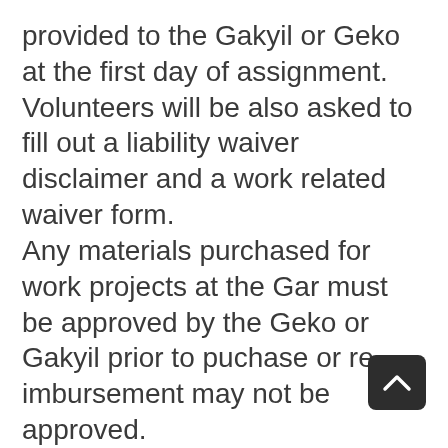provided to the Gakyil or Geko at the first day of assignment. Volunteers will be also asked to fill out a liability waiver disclaimer and a work related waiver form. Any materials purchased for work projects at the Gar must be approved by the Geko or Gakyil prior to puchase or re-imbursement may not be approved. Infraction of the rules of the work exchange program or general policy will result in a report from the geko to the gakyil for immediate evaluation and can result in a probation period with a revised agreement or a termination of a work exchange stay at the Gar at the discretion of the Director if